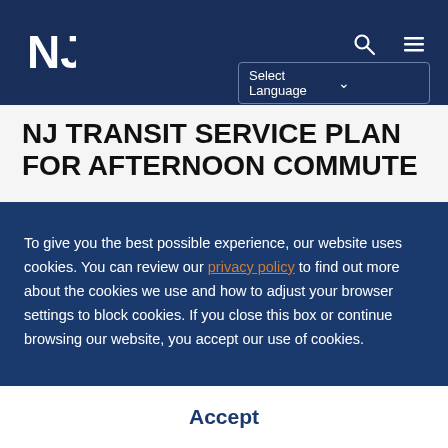NJ Transit website header with NJ logo, search icon, menu icon, and Select Language dropdown
NJ TRANSIT SERVICE PLAN FOR AFTERNOON COMMUTE
To give you the best possible experience, our website uses cookies. You can review our privacy policy to find out more about the cookies we use and how to adjust your browser settings to block cookies. If you close this box or continue browsing our website, you accept our use of cookies.
Accept